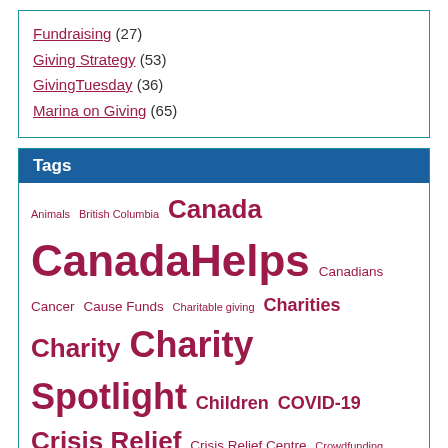Fundraising (27)
Giving Strategy (53)
GivingTuesday (36)
Marina on Giving (65)
Tags
Animals British Columbia Canada CanadaHelps Canadians Cancer Cause Funds Charitable giving Charities Charity Charity Spotlight Children COVID-19 Crisis Relief Crisis Relief Centre Crowdfunding Donate Donations Environment Environment Series Food Fundraise Fundraiser Fundraising GIV3 Giving GivingTuesday Great Canadian Giving Challenge Guest Blog Health Holidays Homeless Homelessness Marina Marina's Picks Mental Health Poverty Refugees Refugee Series Syria Toronto Vancouver